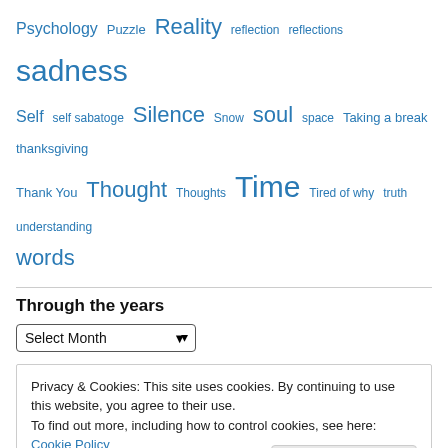[Figure (infographic): Word cloud with blue-colored tags of varying sizes: Psychology, Puzzle, Reality, reflection, reflections, sadness, Self, self sabatoge, Silence, Snow, soul, space, Taking a break, thanksgiving, Thank You, Thought, Thoughts, Time, Tired of why, truth, understanding, words]
Through the years
Select Month (dropdown)
Privacy & Cookies: This site uses cookies. By continuing to use this website, you agree to their use.
To find out more, including how to control cookies, see here: Cookie Policy
Close and accept